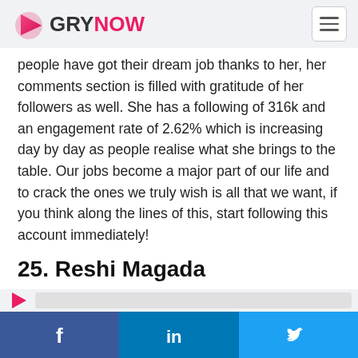GRYNOW
people have got their dream job thanks to her, her comments section is filled with gratitude of her followers as well. She has a following of 316k and an engagement rate of 2.62% which is increasing day by day as people realise what she brings to the table. Our jobs become a major part of our life and to crack the ones we truly wish is all that we want, if you think along the lines of this, start following this account immediately!
25. Reshi Magada